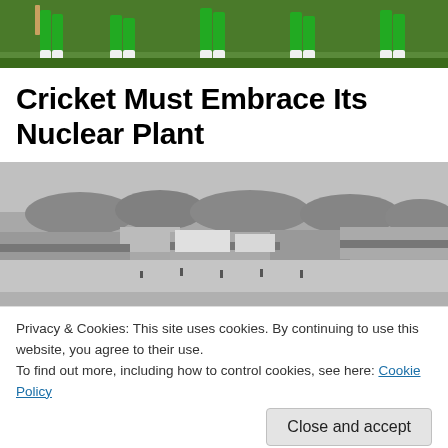[Figure (photo): Cricket players in green uniforms walking on a field, showing legs and lower bodies]
Cricket Must Embrace Its Nuclear Plant
[Figure (photo): Black and white historical photo of a cricket ground with crowds in the stands and trees in the background]
Privacy & Cookies: This site uses cookies. By continuing to use this website, you agree to their use.
To find out more, including how to control cookies, see here: Cookie Policy
Close and accept
power plant changed one very rural, very poor, Maryland